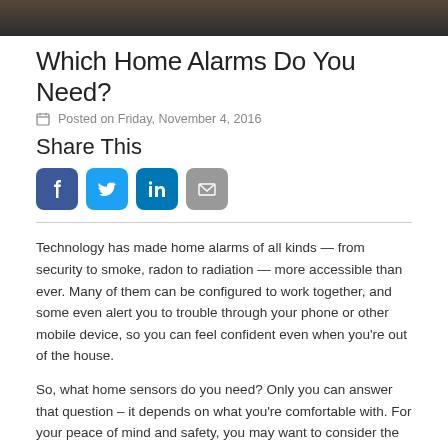[Figure (photo): Dark photo banner at top of page]
Which Home Alarms Do You Need?
Posted on Friday, November 4, 2016
Share This
[Figure (infographic): Social share icons: Facebook, Twitter, LinkedIn, Email]
Technology has made home alarms of all kinds — from security to smoke, radon to radiation — more accessible than ever. Many of them can be configured to work together, and some even alert you to trouble through your phone or other mobile device, so you can feel confident even when you're out of the house.
So, what home sensors do you need? Only you can answer that question – it depends on what you're comfortable with. For your peace of mind and safety, you may want to consider the following types of alarms for your home.
Start With the Basics